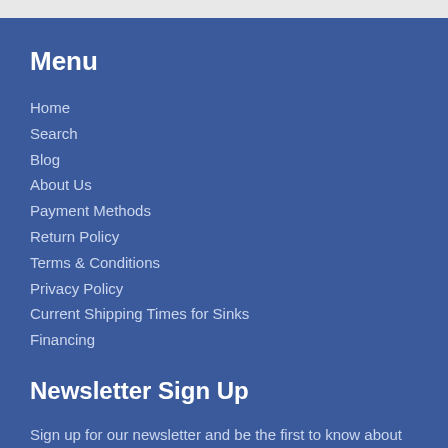Menu
Home
Search
Blog
About Us
Payment Methods
Return Policy
Terms & Conditions
Privacy Policy
Current Shipping Times for Sinks
Financing
Newsletter Sign Up
Sign up for our newsletter and be the first to know about new products, coupons and special promotions.